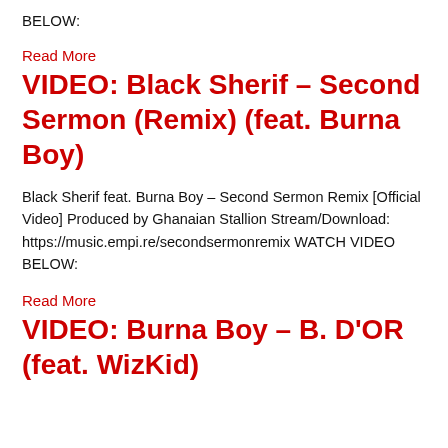BELOW:
Read More
VIDEO: Black Sherif – Second Sermon (Remix) (feat. Burna Boy)
Black Sherif feat. Burna Boy – Second Sermon Remix [Official Video] Produced by Ghanaian Stallion Stream/Download: https://music.empi.re/secondsermonremix WATCH VIDEO BELOW:
Read More
VIDEO: Burna Boy – B. D'OR (feat. WizKid)